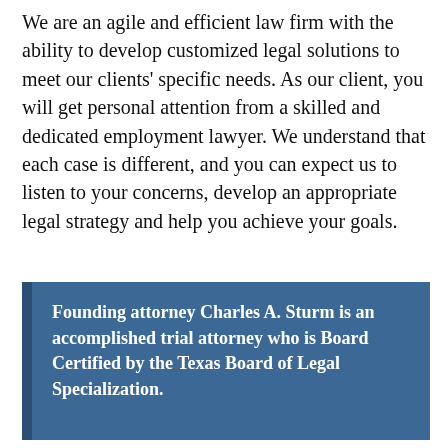We are an agile and efficient law firm with the ability to develop customized legal solutions to meet our clients' specific needs. As our client, you will get personal attention from a skilled and dedicated employment lawyer. We understand that each case is different, and you can expect us to listen to your concerns, develop an appropriate legal strategy and help you achieve your goals.
Founding attorney Charles A. Sturm is an accomplished trial attorney who is Board Certified by the Texas Board of Legal Specialization.